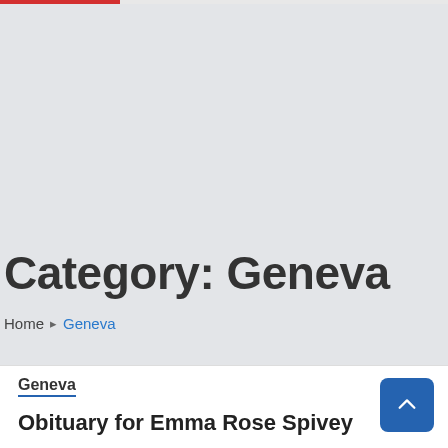Category: Geneva
Home ▸ Geneva
Geneva
Obituary for Emma Rose Spivey